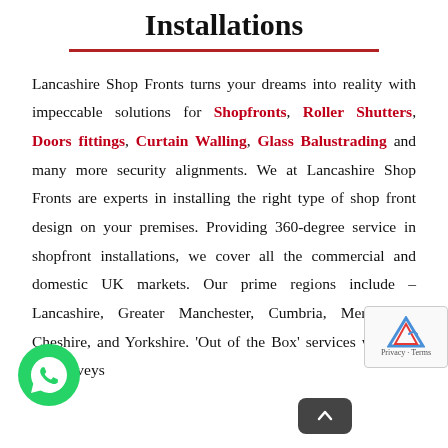Installations
Lancashire Shop Fronts turns your dreams into reality with impeccable solutions for Shopfronts, Roller Shutters, Doors fittings, Curtain Walling, Glass Balustrading and many more security alignments. We at Lancashire Shop Fronts are experts in installing the right type of shop front design on your premises. Providing 360-degree service in shopfront installations, we cover all the commercial and domestic UK markets. Our prime regions include – Lancashire, Greater Manchester, Cumbria, Merseyside, Cheshire, and Yorkshire. 'Out of the Box' services with on-site surveys